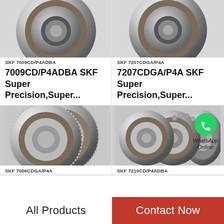[Figure (photo): SKF angular contact ball bearing 7009CD/P4ADBA, silver metallic ring bearing close-up]
SKF 7009CD/P4ADBA
7009CD/P4ADBA SKF Super Precision,Super...
[Figure (photo): SKF angular contact ball bearing 7207CDGA/P4A, silver metallic ring bearing close-up]
SKF 7207CDGA/P4A
7207CDGA/P4A SKF Super Precision,Super...
[Figure (photo): SKF double row cylindrical roller bearing 7006CDGA/P4A]
SKF 7006CDGA/P4A
[Figure (photo): SKF angular contact ball bearing set 7210CD/P4ADBA with WhatsApp Online overlay]
SKF 7210CD/P4ADBA
All Products
Contact Now